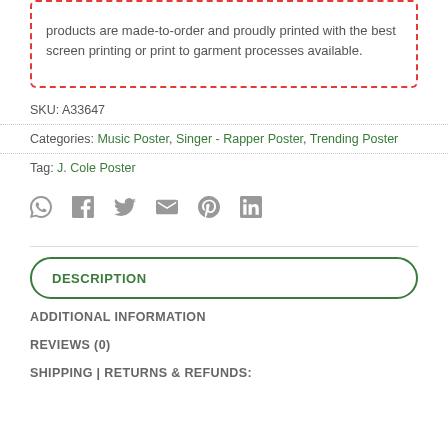products are made-to-order and proudly printed with the best screen printing or print to garment processes available.
SKU: A33647
Categories: Music Poster, Singer - Rapper Poster, Trending Poster
Tag: J. Cole Poster
[Figure (infographic): Social share icons row: WhatsApp, Facebook, Twitter, Email, Pinterest, LinkedIn icons in gray]
DESCRIPTION
ADDITIONAL INFORMATION
REVIEWS (0)
SHIPPING | RETURNS & REFUNDS: